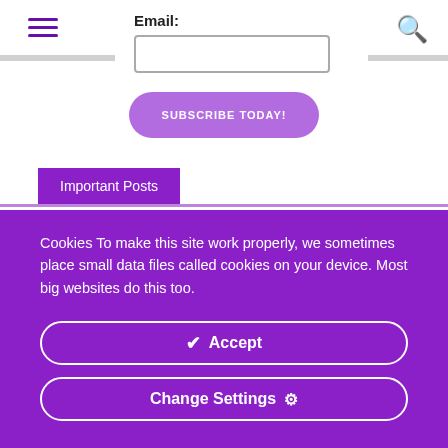[Figure (other): Hamburger menu icon (three horizontal purple lines) at top left]
[Figure (other): Search icon (magnifying glass) at top right in purple]
Email:
[Figure (other): Email input text field (empty, with border)]
SUBSCRIBE TODAY!
Important Posts
Cookies To make this site work properly, we sometimes place small data files called cookies on your device. Most big websites do this too.
✔ Accept
Change Settings ⚙